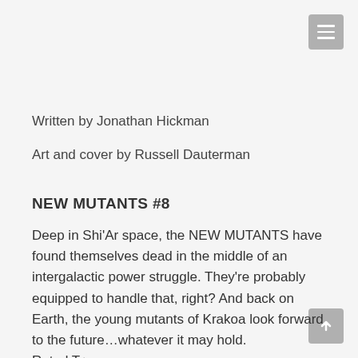Written by Jonathan Hickman
Art and cover by Russell Dauterman
NEW MUTANTS #8
Deep in Shi’Ar space, the NEW MUTANTS have found themselves dead in the middle of an intergalactic power struggle. They’re probably equipped to handle that, right? And back on Earth, the young mutants of Krakoa look forward to the future…whatever it may hold.
Rated T+